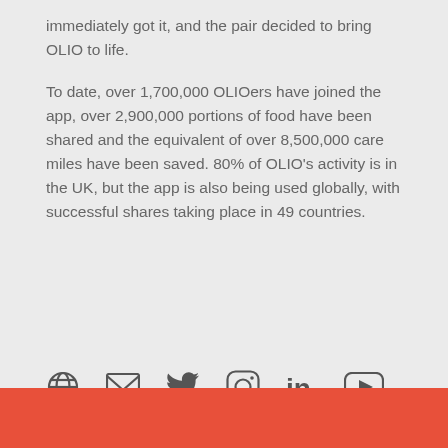immediately got it, and the pair decided to bring OLIO to life.
To date, over 1,700,000 OLIOers have joined the app, over 2,900,000 portions of food have been shared and the equivalent of over 8,500,000 care miles have been saved. 80% of OLIO's activity is in the UK, but the app is also being used globally, with successful shares taking place in 49 countries.
[Figure (infographic): Social media and contact icons: globe, email, Twitter, Instagram, LinkedIn, YouTube]
‹ THE BRANDS LIST